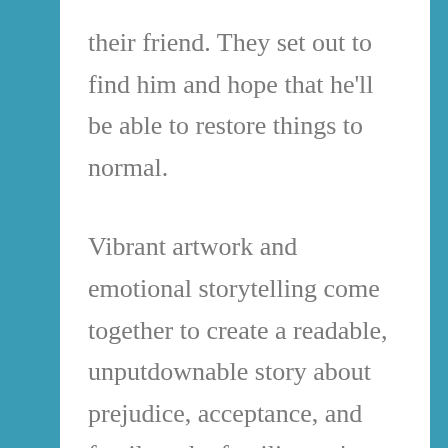their friend. They set out to find him and hope that he'll be able to restore things to normal.
Vibrant artwork and emotional storytelling come together to create a readable, unputdownable story about prejudice, acceptance, and family – the families we're born into and found families, with a subplot about disrupting ecosystems. A good